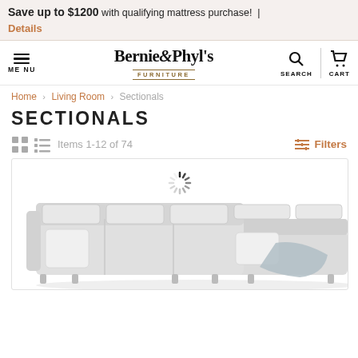Save up to $1200 with qualifying mattress purchase! | Details
[Figure (screenshot): Bernie & Phyl's Furniture website navigation bar with menu, logo, search and cart icons]
Home › Living Room › Sectionals
SECTIONALS
Items 1-12 of 74   Filters
[Figure (photo): Product listing area showing a light gray sectional sofa with chaise and decorative pillows, with a loading spinner visible at top]